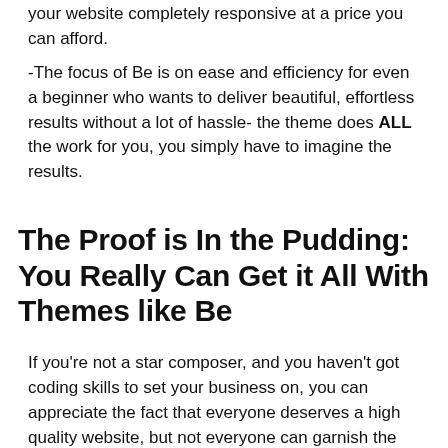your website completely responsive at a price you can afford.
-The focus of Be is on ease and efficiency for even a beginner who wants to deliver beautiful, effortless results without a lot of hassle- the theme does ALL the work for you, you simply have to imagine the results.
The Proof is In the Pudding: You Really Can Get it All With Themes like Be
If you're not a star composer, and you haven't got coding skills to set your business on, you can appreciate the fact that everyone deserves a high quality website, but not everyone can garnish the results they want.
And these days it's all about expanding your audience, getting a global base, and reaching outside of a limited range of